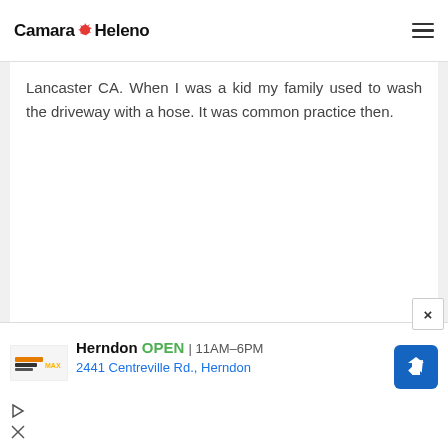Camara Heleno
Lancaster CA. When I was a kid my family used to wash the driveway with a hose. It was common practice then.
[Figure (screenshot): Advertisement banner for Furniture Store showing Herndon location: OPEN 11AM-6PM, 2441 Centreville Rd., Herndon with navigation arrow icon]